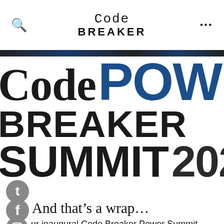Code BREAKER
[Figure (logo): Code Breaker Power Summit 2022 logo banner with large bold text. 'Code' in serif black, 'POWER' in bold blue, 'BREAKER' in black, 'SUMMIT' in black, '2022' partially visible. Dark decorative band at top of image.]
[Figure (logo): Twitter bird icon in gray circle]
[Figure (logo): Facebook 'f' icon in gray circle]
And that’s a wrap…
[Figure (logo): Instagram icon in gray circle]
Our inaugural Code Breaker Power Summit